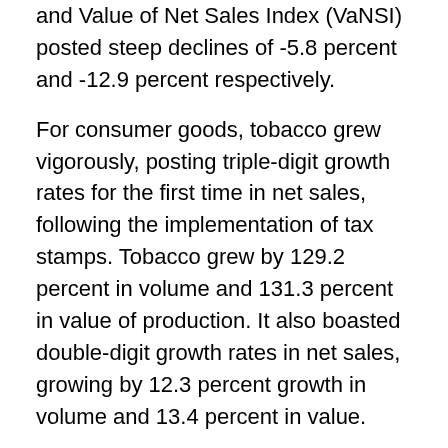and Value of Net Sales Index (VaNSI) posted steep declines of -5.8 percent and -12.9 percent respectively.
For consumer goods, tobacco grew vigorously, posting triple-digit growth rates for the first time in net sales, following the implementation of tax stamps. Tobacco grew by 129.2 percent in volume and 131.3 percent in value of production. It also boasted double-digit growth rates in net sales, growing by 12.3 percent growth in volume and 13.4 percent in value.
In contrast, the food subsector continued to decline in both value and volume of net sales due to the persisting dry spell brought about by the El Niño and the devastation brought about by typhoons “Egay”,